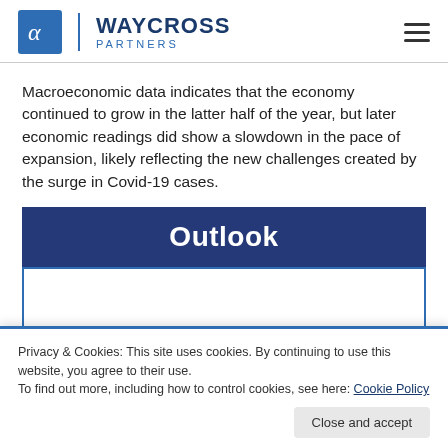Waycross Partners
Macroeconomic data indicates that the economy continued to grow in the latter half of the year, but later economic readings did show a slowdown in the pace of expansion, likely reflecting the new challenges created by the surge in Covid-19 cases.
Outlook
Privacy & Cookies: This site uses cookies. By continuing to use this website, you agree to their use.
To find out more, including how to control cookies, see here: Cookie Policy
tailwind. However, there are still some overhangs, including